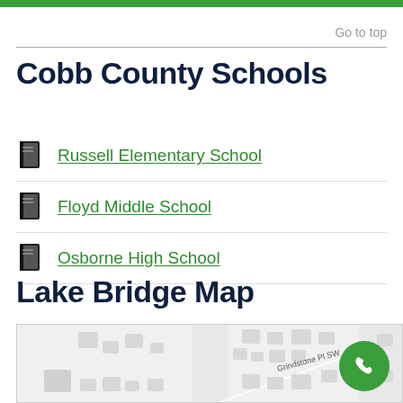Go to top
Cobb County Schools
Russell Elementary School
Floyd Middle School
Osborne High School
Lake Bridge Map
[Figure (map): Street map showing Grindstone Pl SW area with building outlines in light gray]